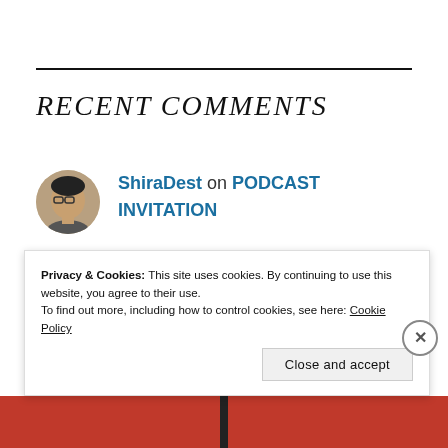RECENT COMMENTS
ShiraDest on PODCAST INVITATION
Privacy & Cookies: This site uses cookies. By continuing to use this website, you agree to their use.
To find out more, including how to control cookies, see here: Cookie Policy
Close and accept